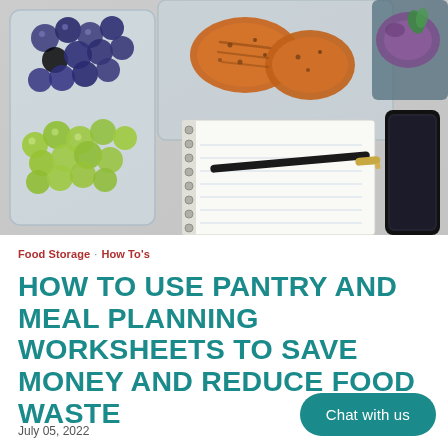[Figure (photo): Overhead photo of meal prep containers with grilled chicken, blueberries and green grapes in glass containers, a blank spiral notebook with a pen, and a smartphone on a gray surface.]
Food Storage · How To's
HOW TO USE PANTRY AND MEAL PLANNING WORKSHEETS TO SAVE MONEY AND REDUCE FOOD WASTE
July 05, 2022